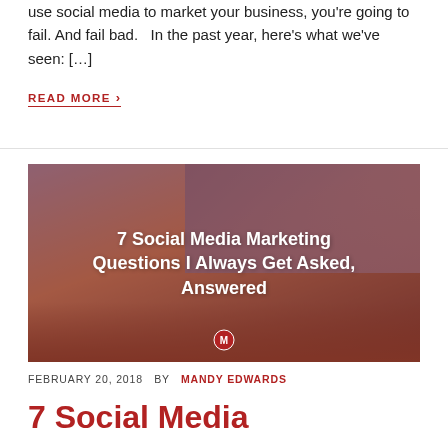use social media to market your business, you're going to fail. And fail bad.   In the past year, here's what we've seen: […]
READ MORE ›
[Figure (photo): Blog post featured image with red semi-transparent overlay showing title '7 Social Media Marketing Questions I Always Get Asked, Answered' with a background of someone writing at a desk with a notebook and phone.]
FEBRUARY 20, 2018  BY  MANDY EDWARDS
7 Social Media